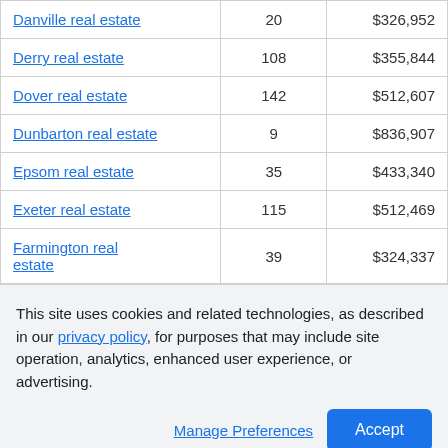| Danville real estate | 20 | $326,952 |
| Derry real estate | 108 | $355,844 |
| Dover real estate | 142 | $512,607 |
| Dunbarton real estate | 9 | $836,907 |
| Epsom real estate | 35 | $433,340 |
| Exeter real estate | 115 | $512,469 |
| Farmington real estate | 39 | $324,337 |
This site uses cookies and related technologies, as described in our privacy policy, for purposes that may include site operation, analytics, enhanced user experience, or advertising.